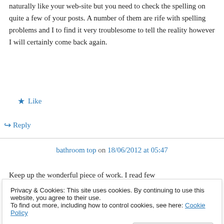naturally like your web-site but you need to check the spelling on quite a few of your posts. A number of them are rife with spelling problems and I to find it very troublesome to tell the reality however I will certainly come back again.
★ Like
↪ Reply
bathroom top on 18/06/2012 at 05:47
Keep up the wonderful piece of work. I read few
Privacy & Cookies: This site uses cookies. By continuing to use this website, you agree to their use.
To find out more, including how to control cookies, see here: Cookie Policy
Close and accept
↪ Reply